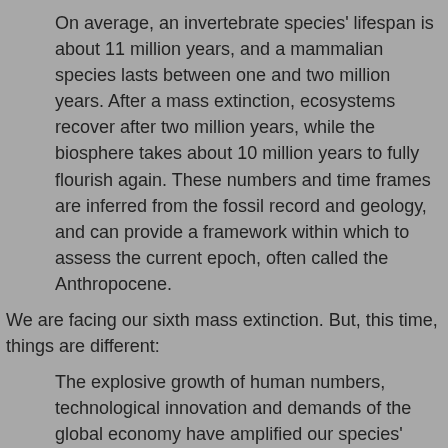On average, an invertebrate species' lifespan is about 11 million years, and a mammalian species lasts between one and two million years. After a mass extinction, ecosystems recover after two million years, while the biosphere takes about 10 million years to fully flourish again. These numbers and time frames are inferred from the fossil record and geology, and can provide a framework within which to assess the current epoch, often called the Anthropocene.
We are facing our sixth mass extinction. But, this time, things are different:
The explosive growth of human numbers, technological innovation and demands of the global economy have amplified our species' ecological footprint so greatly that we have triggered another mass extinction episode. Unlike the previous five, this sixth extinction is the direct consequence of one species, us — an infant species that has only been around for 300,000